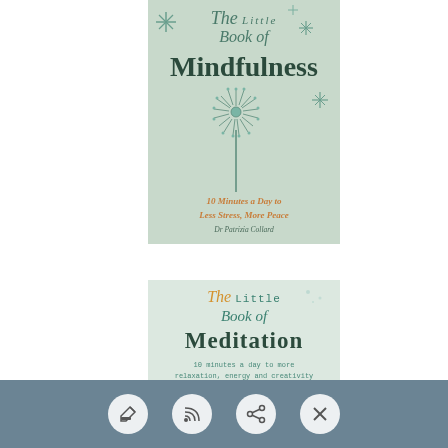[Figure (illustration): Book cover for 'The Little Book of Mindfulness: 10 Minutes a Day to Less Stress, More Peace' by Dr Patrizia Collard. Mint/sage green background with decorative dandelion illustration and star/sparkle motifs.]
[Figure (illustration): Book cover for 'The Little Book of Meditation: 10 minutes a day to more relaxation, energy and creativity'. Light green background with decorative wave/figure illustrations at the bottom.]
[Figure (screenshot): Mobile app toolbar with four circular icon buttons (blog/pencil, RSS feed, share, and close/X) on a blue-grey background bar at the bottom of the screen.]